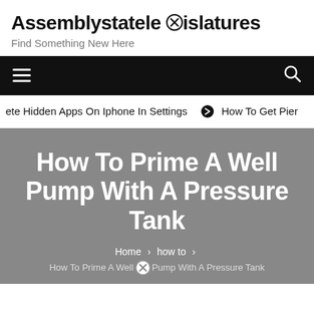Assemblystatelegislatures
Find Something New Here
navigation bar with hamburger menu and search icon
ete Hidden Apps On Iphone In Settings  ❯  How To Get Pier
How To Prime A Well Pump With A Pressure Tank
Home > how to >
How To Prime A Well Pump With A Pressure Tank